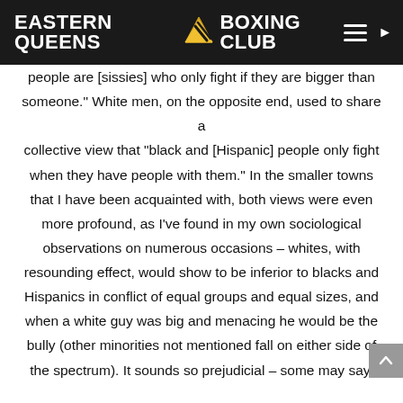EASTERN QUEENS BOXING CLUB
people are [sissies] who only fight if they are bigger than someone." White men, on the opposite end, used to share a collective view that "black and [Hispanic] people only fight when they have people with them." In the smaller towns that I have been acquainted with, both views were even more profound, as I've found in my own sociological observations on numerous occasions – whites, with resounding effect, would show to be inferior to blacks and Hispanics in conflict of equal groups and equal sizes, and when a white guy was big and menacing he would be the bully (other minorities not mentioned fall on either side of the spectrum). It sounds so prejudicial – some may say,